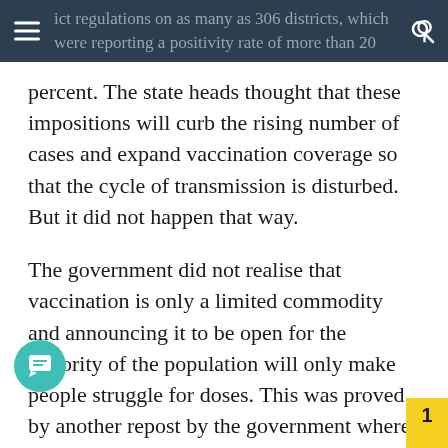ict regulations on as many as 306 districts, which were reporting a positivity rate of more than 20
percent. The state heads thought that these impositions will curb the rising number of cases and expand vaccination coverage so that the cycle of transmission is disturbed. But it did not happen that way.
The government did not realise that vaccination is only a limited commodity and announcing it to be open for the majority of the population will only make people struggle for doses. This was proved by another repost by the government where it was acknowledged that there is a glaring gap between first and second doses of vaccines administered to people.